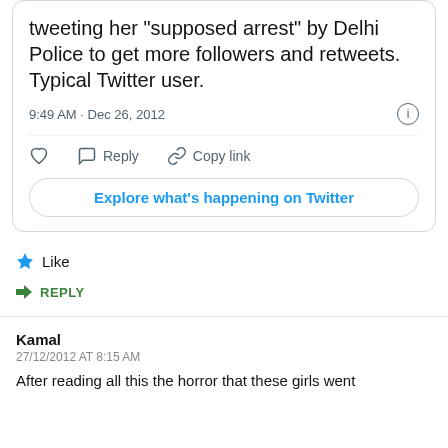tweeting her "supposed arrest" by Delhi Police to get more followers and retweets. Typical Twitter user.
9:49 AM · Dec 26, 2012
Reply   Copy link
Explore what's happening on Twitter
Like
REPLY
Kamal
27/12/2012 AT 8:15 AM
After reading all this the horror that these girls went